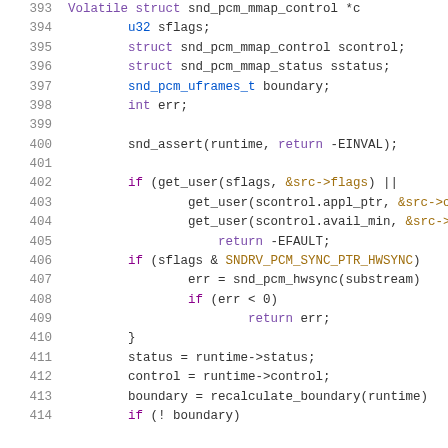[Figure (screenshot): Source code snippet showing C kernel code lines 393-414 with syntax highlighting. Line numbers in grey on left, keywords in purple, type names in blue/purple, string constants and pointer references in gold/green.]